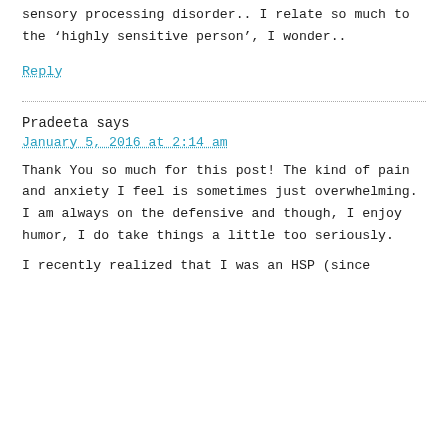sensory processing disorder.. I relate so much to the ‘highly sensitive person’, I wonder..
Reply
Pradeeta says
January 5, 2016 at 2:14 am
Thank You so much for this post! The kind of pain and anxiety I feel is sometimes just overwhelming. I am always on the defensive and though, I enjoy humor, I do take things a little too seriously.
I recently realized that I was an HSP (since